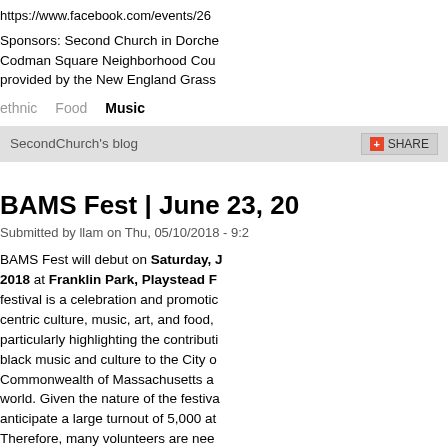https://www.facebook.com/events/26...
Sponsors: Second Church in Dorche... Codman Square Neighborhood Cou... provided by the New England Grass...
ethnic
Food
Music
SecondChurch's blog
BAMS Fest | June 23, 20...
Submitted by llam on Thu, 05/10/2018 - 9:2...
BAMS Fest will debut on Saturday, J... 2018 at Franklin Park, Playstead F... festival is a celebration and promoti... centric culture, music, art, and food,... particularly highlighting the contributi... black music and culture to the City o... Commonwealth of Massachusetts a... world. Given the nature of the festiva... anticipate a large turnout of 5,000 a... Therefore, many volunteers are nee...
The deadline to submit a volunteer a... has been extended to Monday, May...